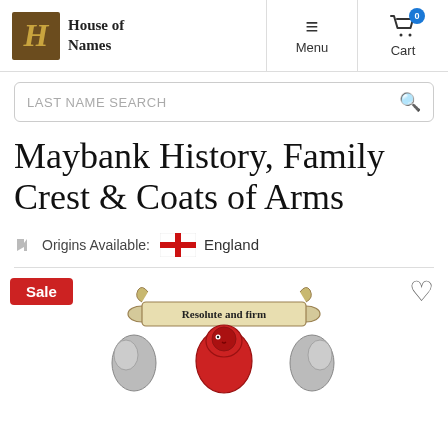House of Names — Menu | Cart (0)
LAST NAME SEARCH
Maybank History, Family Crest & Coats of Arms
Origins Available: England
[Figure (illustration): Maybank family crest/coat of arms illustration with scroll banner reading 'Resolute and firm' and heraldic figures including a red lion and two supporters holding shields, partially visible]
Sale